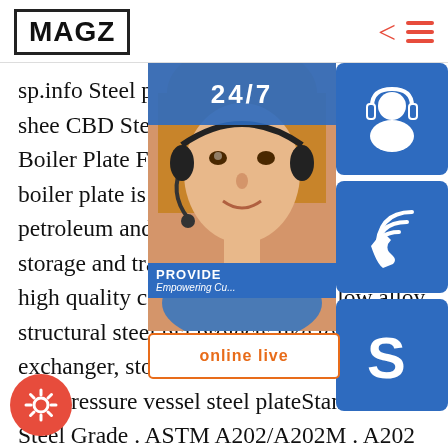MAGZ
sp.info Steel plate for boiler boiler steel sheet CBD SteelBest Seller-Carbon And Structural Boiler Plate For Sale. Product Description: boiler plate is used for container manufacturing petroleum and chemical industry, gas tank, gas storage and transportation or other equipment, high quality carbon steel and high strength low alloy structural steel plates for projects like tower, heat exchanger, storage tank, etc..sp.info Boiler and Pressure vessel steel plateStandard . Steel Grade . ASTM A202/A202M . A202 Grade A . A202 Grade B . ASTM A203/A203M . A203 Grade A . A203 Grade B . A203 Grade D . A203
[Figure (infographic): Customer service widget overlay on right side showing: 24/7 badge, headset icon button, phone icon button, Skype icon button, PROVIDE Empowering Customers text, online live button, and a photo of a woman with headset]